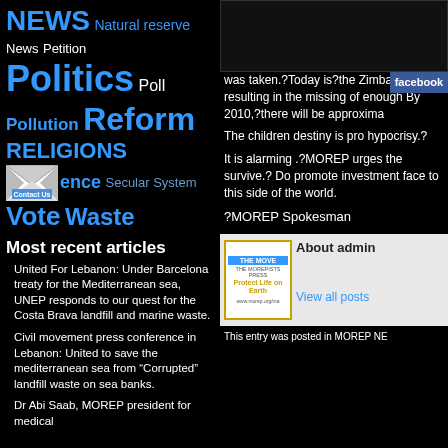NEWS Natural reserve News Petition Politics Poll Pollution Reform RELIGIONS ence Secular System Vote Waste
[Figure (illustration): Contact Us envelope icon with Contact Us label]
Most recent articles
United For Lebanon: Under Barcelona treaty for the Mediterranean sea, UNEP responds to our quest for the Costa Brava landfill and marine waste.
Civil movement press conference in Lebanon: United to save the mediterranean sea from "Corrupted" landfill waste on sea banks.
Dr Abi Saab, MOREP president for medical
was taken.?Today is?the Zimbabw resulting in the missing of enough By 2010,?there will be approxima
The children destiny is pro hypocrisy.?
It is alarming .?MOREP urges the survive.? Do promote investment face to this side of the world.
?MOREP Spokesman
[Figure (logo): MOREP/THE MOREPISTS PRESS logo - Protect Life on Earth]
About admin
View all posts
This entry was posted in MOREP NE